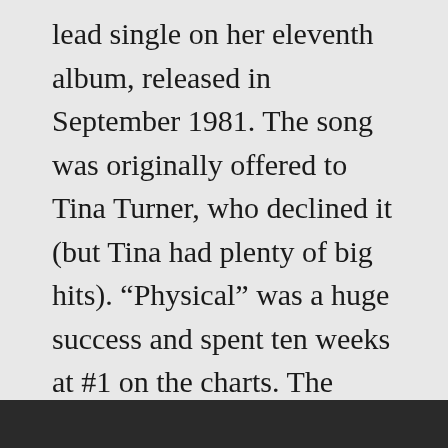lead single on her eleventh album, released in September 1981. The song was originally offered to Tina Turner, who declined it (but Tina had plenty of big hits). “Physical” was a huge success and spent ten weeks at #1 on the charts. The suggestive lyrics even caused it to be banned in some areas, but check out the video.
[Figure (photo): Dark image strip at the bottom of the page, partially visible]